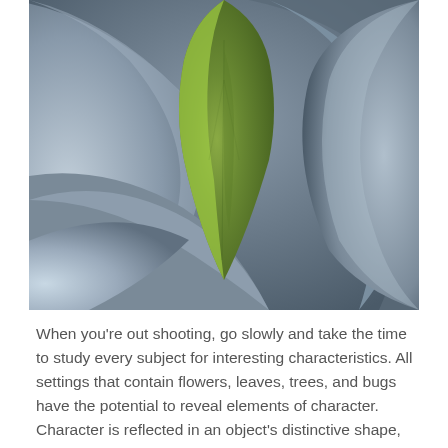[Figure (photo): Close-up macro photograph of agave or succulent plant leaves. A central green leaf curves upward in a teardrop/flame shape, surrounded by large blue-grey leaves with smooth curved surfaces. The lighting highlights the texture and curves of the leaves.]
When you're out shooting, go slowly and take the time to study every subject for interesting characteristics. All settings that contain flowers, leaves, trees, and bugs have the potential to reveal elements of character. Character is reflected in an object's distinctive shape, remarkable lines, exceptional